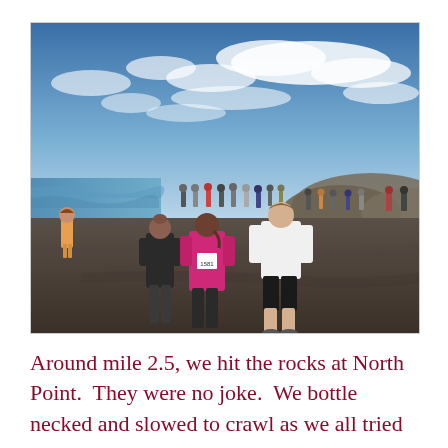[Figure (photo): A group of runners on a dark sandy beach during a race. The foreground shows a woman in a black jacket and another in a bright pink long-sleeve top with race bib number 1581, and a man in a white shirt and black shorts. Many other runners are visible further along the beach. The ocean is to the left and hills are visible in the background under a partly cloudy blue sky.]
Around mile 2.5, we hit the rocks at North Point.  They were no joke.  We bottle necked and slowed to crawl as we all tried